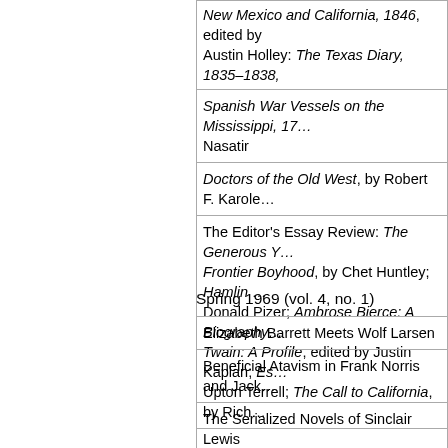| New Mexico and California, 1846, edited by Austin Holley: The Texas Diary, 1835–1838, |
| Spanish War Vessels on the Mississippi, 17… Nasatir |
| Doctors of the Old West, by Robert F. Karole… |
| The Editor's Essay Review: The Generous Y… Frontier Boyhood, by Chet Huntley; Hamlin … Donald Pizer; Ambrose Bierce: A Biography… Twain: A Profile, edited by Justin Kaplan; Es… Upton Terrell; The Call to California, by Rich… |
Spring 1969 (vol. 4, no. 1)
| Elizabeth Barrett Meets Wolf Larsen |
| Beneficial Atavism in Frank Norris and Jack… |
| The Serialized Novels of Sinclair Lewis |
| Owen Wister's "Hank's Woman": The Writer… |
| Washington Irving's Revision of the Tonquin… |
| Book Reviews |